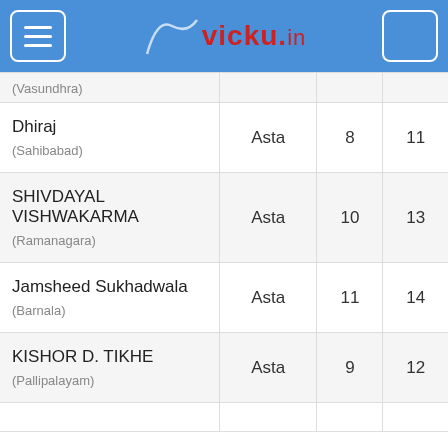vicky.in
| Name (Location) | Type | Col3 | Col4 |
| --- | --- | --- | --- |
| (Vasundhra) |  |  |  |
| Dhiraj
(Sahibabad) | Asta | 8 | 11 |
| SHIVDAYAL VISHWAKARMA
(Ramanagara) | Asta | 10 | 13 |
| Jamsheed Sukhadwala
(Barnala) | Asta | 11 | 14 |
| KISHOR D. TIKHE
(Pallipalayam) | Asta | 9 | 12 |